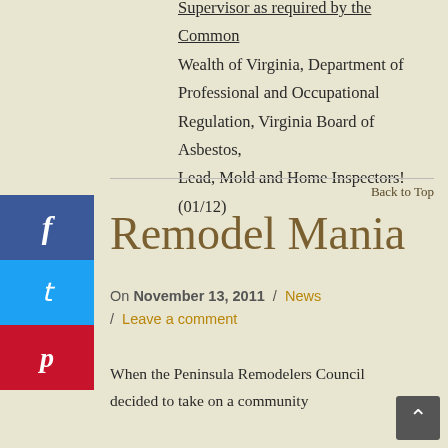Wealth of Virginia, Department of Professional and Occupational Regulation, Virginia Board of Asbestos, Lead, Mold and Home Inspectors! (01/12)
Back to Top
Remodel Mania
On November 13, 2011 / News / Leave a comment
When the Peninsula Remodelers Council decided to take on a community